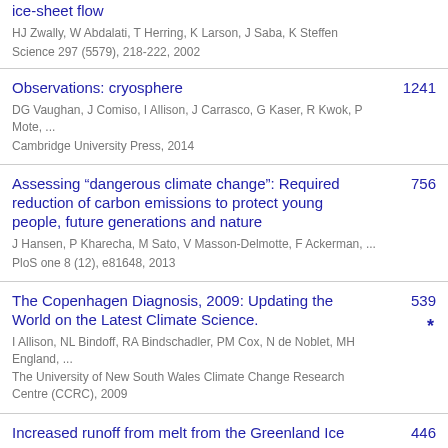ice-sheet flow
HJ Zwally, W Abdalati, T Herring, K Larson, J Saba, K Steffen
Science 297 (5579), 218-222, 2002
Observations: cryosphere [1241]
DG Vaughan, J Comiso, I Allison, J Carrasco, G Kaser, R Kwok, P Mote, ...
Cambridge University Press, 2014
Assessing “dangerous climate change”: Required reduction of carbon emissions to protect young people, future generations and nature [756]
J Hansen, P Kharecha, M Sato, V Masson-Delmotte, F Ackerman, ...
PloS one 8 (12), e81648, 2013
The Copenhagen Diagnosis, 2009: Updating the World on the Latest Climate Science. [539] *
I Allison, NL Bindoff, RA Bindschadler, PM Cox, N de Noblet, MH England, ...
The University of New South Wales Climate Change Research Centre (CCRC), 2009
Increased runoff from melt from the Greenland Ice [446]